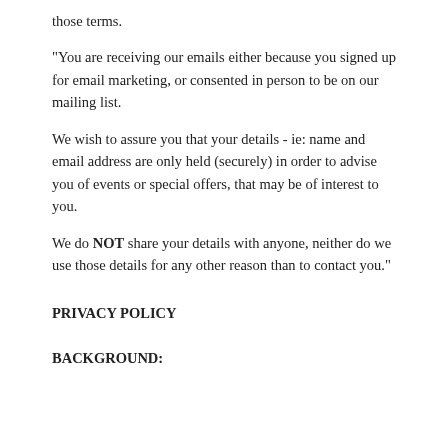those terms.
"You are receiving our emails either because you signed up for email marketing, or consented in person to be on our mailing list.
We wish to assure you that your details - ie: name and email address are only held (securely) in order to advise you of events or special offers, that may be of interest to you.
We do NOT share your details with anyone, neither do we use those details for any other reason than to contact you."
PRIVACY POLICY
BACKGROUND: